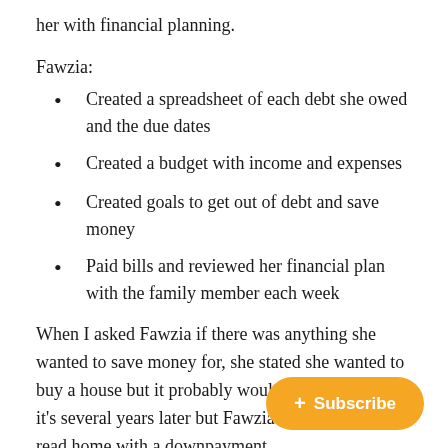her with financial planning.
Fawzia:
Created a spreadsheet of each debt she owed and the due dates
Created a budget with income and expenses
Created goals to get out of debt and save money
Paid bills and reviewed her financial plan with the family member each week
When I asked Fawzia if there was anything she wanted to save money for, she stated she wanted to buy a house but it probably wouldn’t happen. Well, it’s several years later but Fawzia is debt-free and read home with a downpayment.